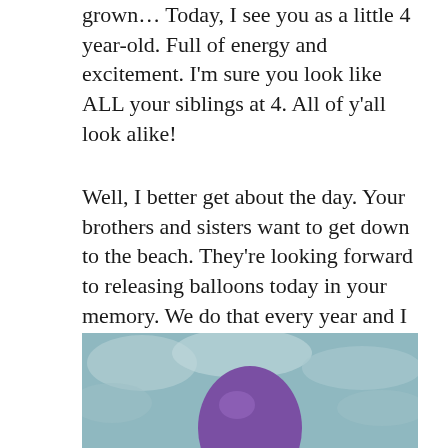grown… Today, I see you as a little 4 year-old. Full of energy and excitement. I'm sure you look like ALL your siblings at 4. All of y'all look alike!
Well, I better get about the day. Your brothers and sisters want to get down to the beach. They're looking forward to releasing balloons today in your memory. We do that every year and I think it helps all of us. I love you. I miss you.
Dad.
[Figure (photo): Partial photo showing a purple balloon against a muted teal/blue-grey sky background, cropped at the bottom of the page.]